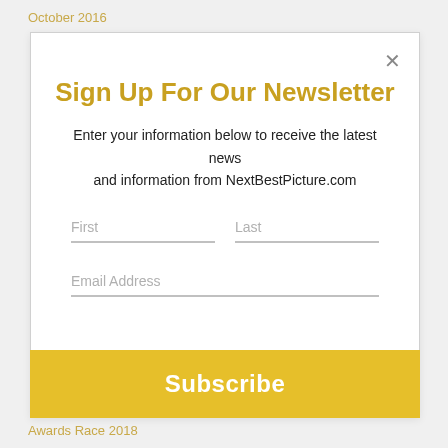October 2016
Sign Up For Our Newsletter
Enter your information below to receive the latest news and information from NextBestPicture.com
First
Last
Email Address
Subscribe
Awards Race 2018